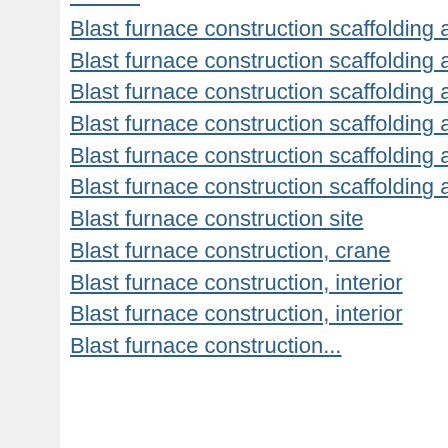Blast furnace construction scaffolding and cranes
Blast furnace construction scaffolding and cranes
Blast furnace construction scaffolding and cranes
Blast furnace construction scaffolding and cranes
Blast furnace construction scaffolding and cranes
Blast furnace construction scaffolding and cranes
Blast furnace construction site
Blast furnace construction, crane
Blast furnace construction, interior
Blast furnace construction, interior
Blast furnace construction...